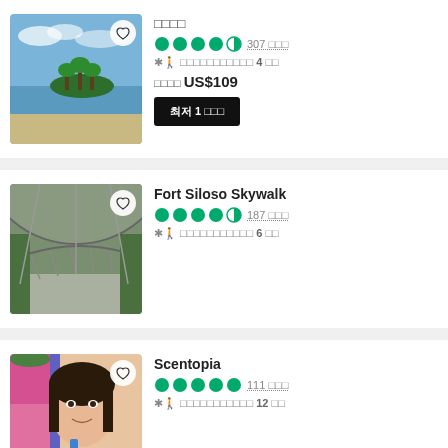[Figure (photo): Beach scene with small island of palm trees, calm sea water and sandy shore]
□□□□
★ 307 □□□
*🚶 □□□□□□□□□□□ 4 □□
□□□□ US$109
최저 1 □□□
[Figure (photo): Fort Siloso Skywalk covered walkway with metal railings going downhill]
Fort Siloso Skywalk
★ 187 □□□
*🚶 □□□□□□□□□□□ 6 □□
[Figure (photo): Scentopia - woman smiling at camera in front of colorful display]
Scentopia
★ 111 □□□
*🚶 □□□□□□□□□□□ 12 □□